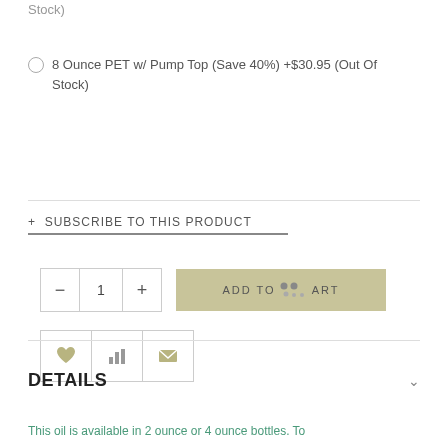Stock)
8 Ounce PET w/ Pump Top (Save 40%) +$30.95 (Out Of Stock)
+ SUBSCRIBE TO THIS PRODUCT
[Figure (other): Quantity selector with minus and plus buttons showing value 1, and Add To Cart button with loading dots]
[Figure (other): Three icon buttons: heart (wishlist), bar chart (compare), envelope (email)]
DETAILS
This oil is available in 2 ounce or 4 ounce bottles. To